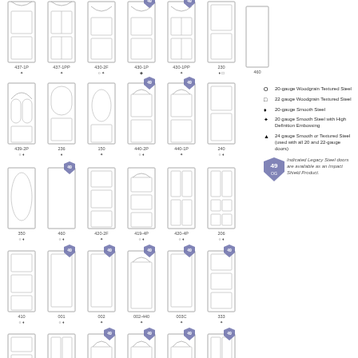[Figure (illustration): Product catalog page showing door panel style illustrations arranged in a grid with model numbers and material symbols. Rows of door diagrams including models 437-1P, 437-1PP, 430-2F, 430-1P, 430-1PP, 230, 460, 439-2P, 236, 150, 440-2P, 440-1P, 240, 350, 460, 420-2F, 419-4P, 420-4P, 206, 410, 001, 002, 002-440, 003C, 333, 420-2P, 419-4P, 002C-437, 002CP-437, 003, 006]
O 20-gauge Woodgrain Textured Steel
□ 22 gauge Woodgrain Textured Steel
♦ 20-gauge Smooth Steel
◆ 20 gauge Smooth Steel with High Definition Embossing
▲ 24 gauge Smooth or Textured Steel (used with all 20 and 22-gauge doors)
Indicated Legacy Steel doors are available as an Impact Shield Product.